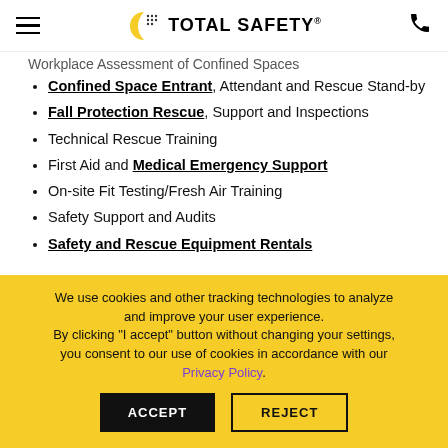Total Safety (logo with hamburger menu and phone icon)
Workplace Assessment of Confined Spaces (truncated/partially visible)
Confined Space Entrant, Attendant and Rescue Stand-by
Fall Protection Rescue, Support and Inspections
Technical Rescue Training
First Aid and Medical Emergency Support
On-site Fit Testing/Fresh Air Training
Safety Support and Audits
Safety and Rescue Equipment Rentals
We use cookies and other tracking technologies to analyze and improve your user experience. By clicking "I accept" button without changing your settings, you consent to our use of cookies in accordance with our Privacy Policy.